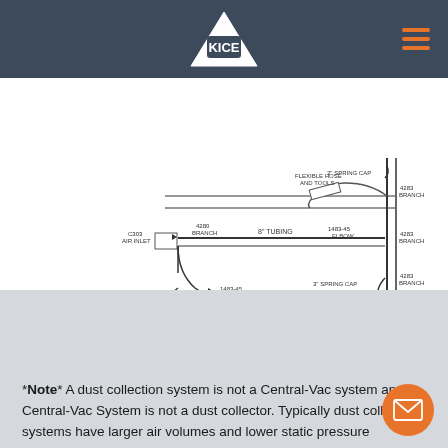KICE (logo navigation bar)
[Figure (engineering-diagram): Schematic diagram of a Central-Vac / pneumatic conveying system showing components: C303 Air Inlet, 4280 Branch, 8' Tubing, 1483-45 Elbow, 3' Spring Cap, 4283 Branch (multiple), Flexible Hose and Tools, 2' Spring Cap, Stock Chamber]
*Note* A dust collection system is not a Central-Vac system and a Central-Vac System is not a dust collector. Typically dust collection systems have larger air volumes and lower static pressure requirements (Inches of Water, i.e. w.c.) where Ce… Vac systems have lower air volume requirements and much